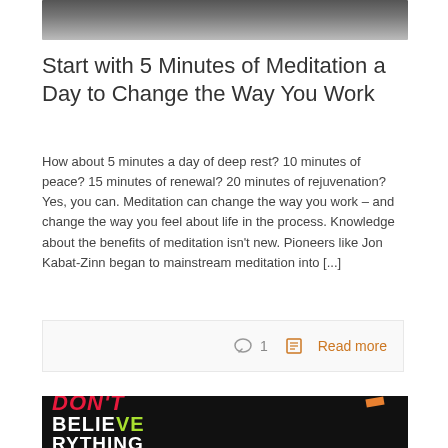[Figure (photo): Top portion of a photo showing a person from behind wearing a dark jacket, partially cropped]
Start with 5 Minutes of Meditation a Day to Change the Way You Work
How about 5 minutes a day of deep rest? 10 minutes of peace? 15 minutes of renewal? 20 minutes of rejuvenation? Yes, you can. Meditation can change the way you work – and change the way you feel about life in the process. Knowledge about the benefits of meditation isn't new. Pioneers like Jon Kabat-Zinn began to mainstream meditation into [...]
◯ 1   📋 Read more
[Figure (photo): Dark background with bold text reading DON'T BELIEVE EVERYTHING in pink/white/green colors with an orange bar accent]